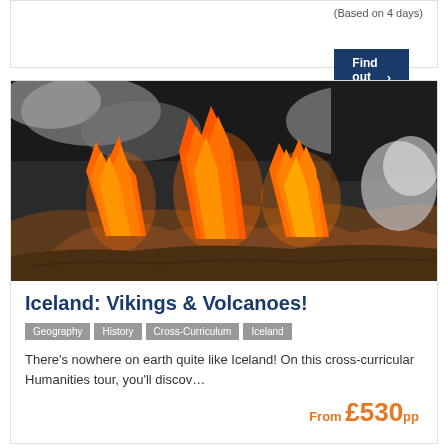(Based on 4 days)
Find out more >
[Figure (photo): Volcanic eruption in Iceland showing large lava fountains with orange flames and smoke against dark rock landscape]
Iceland: Vikings & Volcanoes!
Geography
History
Cross-Curriculum
Iceland
There’s nowhere on earth quite like Iceland! On this cross-curricular Humanities tour, you’ll discov…
From £530 pp